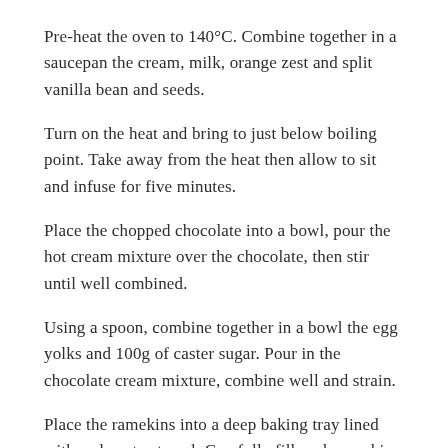Pre-heat the oven to 140°C. Combine together in a saucepan the cream, milk, orange zest and split vanilla bean and seeds.
Turn on the heat and bring to just below boiling point. Take away from the heat then allow to sit and infuse for five minutes.
Place the chopped chocolate into a bowl, pour the hot cream mixture over the chocolate, then stir until well combined.
Using a spoon, combine together in a bowl the egg yolks and 100g of caster sugar. Pour in the chocolate cream mixture, combine well and strain.
Place the ramekins into a deep baking tray lined with a clean tea towel. Carefully fill each ramekin two-thirds full, and then place the baking tray on an oven rack, half filled...